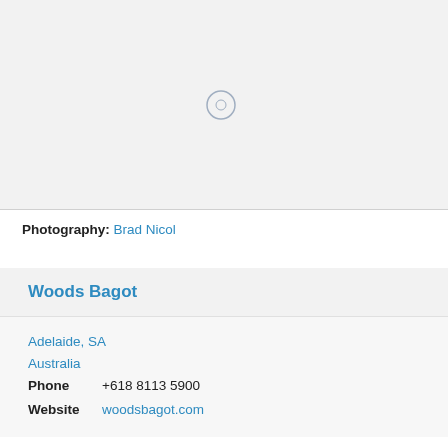[Figure (photo): Light grey placeholder image area with a small circular loading indicator in the center]
Photography: Brad Nicol
Woods Bagot
Adelaide, SA
Australia
Phone   +618 8113 5900
Website   woodsbagot.com